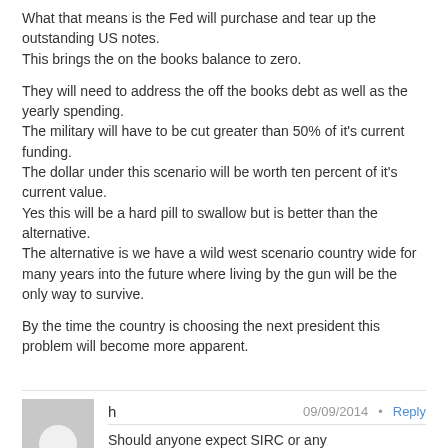What that means is the Fed will purchase and tear up the outstanding US notes.
This brings the on the books balance to zero.

They will need to address the off the books debt as well as the yearly spending.
The military will have to be cut greater than 50% of it's current funding.
The dollar under this scenario will be worth ten percent of it's current value.
Yes this will be a hard pill to swallow but is better than the alternative.
The alternative is we have a wild west scenario country wide for many years into the future where living by the gun will be the only way to survive.

By the time the country is choosing the next president this problem will become more apparent.
h  09/09/2014  Reply
Should anyone expect SIRC or any